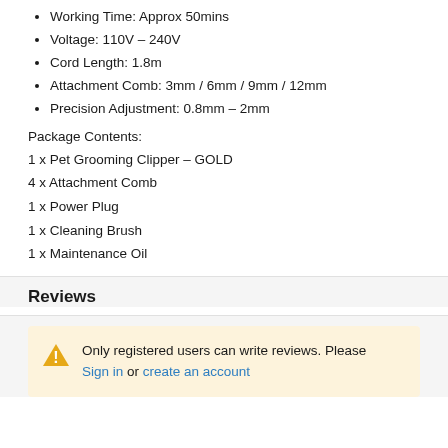Working Time: Approx 50mins
Voltage: 110V – 240V
Cord Length: 1.8m
Attachment Comb: 3mm / 6mm / 9mm / 12mm
Precision Adjustment: 0.8mm – 2mm
Package Contents:
1 x Pet Grooming Clipper – GOLD
4 x Attachment Comb
1 x Power Plug
1 x Cleaning Brush
1 x Maintenance Oil
Reviews
Only registered users can write reviews. Please Sign in or create an account